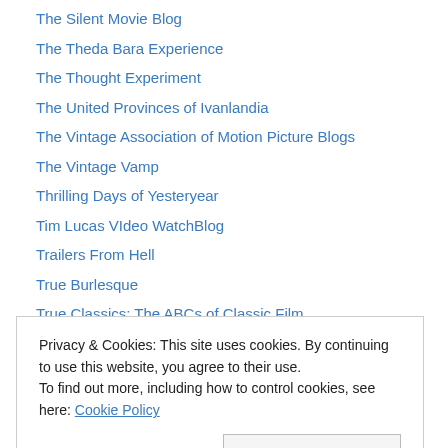The Silent Movie Blog
The Theda Bara Experience
The Thought Experiment
The United Provinces of Ivanlandia
The Vintage Association of Motion Picture Blogs
The Vintage Vamp
Thrilling Days of Yesteryear
Tim Lucas VIdeo WatchBlog
Trailers From Hell
True Burlesque
True Classics: The ABCs of Classic Film
TV Banter
Twenty Four Frames
Privacy & Cookies: This site uses cookies. By continuing to use this website, you agree to their use.
To find out more, including how to control cookies, see here: Cookie Policy
Vintage Roadside